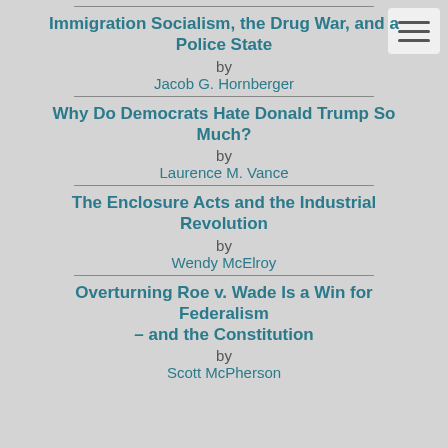Immigration Socialism, the Drug War, and a Police State
by
Jacob G. Hornberger
Why Do Democrats Hate Donald Trump So Much?
by
Laurence M. Vance
The Enclosure Acts and the Industrial Revolution
by
Wendy McElroy
Overturning Roe v. Wade Is a Win for Federalism – and the Constitution
by
Scott McPherson